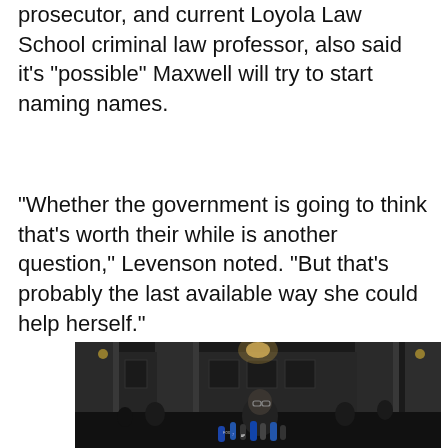prosecutor, and current Loyola Law School criminal law professor, also said it's “possible” Maxwell will try to start naming names.
“Whether the government is going to think that’s worth their while is another question,” Levenson noted. “But that’s probably the last available way she could help herself.”
[Figure (photo): A person with short gray hair and glasses speaks at a nighttime press conference in front of a large stone building with columns. Multiple news microphones are clustered in front of them. Reporters and camera people are visible in the background.]